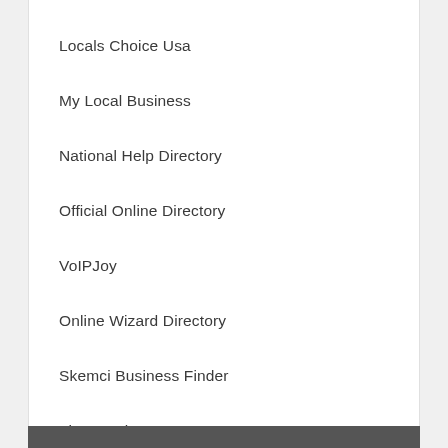Locals Choice Usa
My Local Business
National Help Directory
Official Online Directory
VoIPJoy
Online Wizard Directory
Skemci Business Finder
The Local Escape
The Local Souk
Wilo Wki Local Business
Yellow Biz Directory